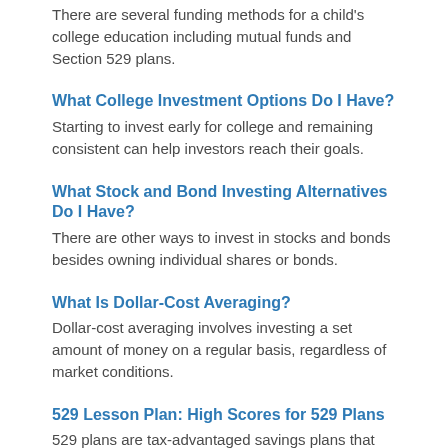There are several funding methods for a child's college education including mutual funds and Section 529 plans.
What College Investment Options Do I Have?
Starting to invest early for college and remaining consistent can help investors reach their goals.
What Stock and Bond Investing Alternatives Do I Have?
There are other ways to invest in stocks and bonds besides owning individual shares or bonds.
What Is Dollar-Cost Averaging?
Dollar-cost averaging involves investing a set amount of money on a regular basis, regardless of market conditions.
529 Lesson Plan: High Scores for 529 Plans
529 plans are tax-advantaged savings plans that